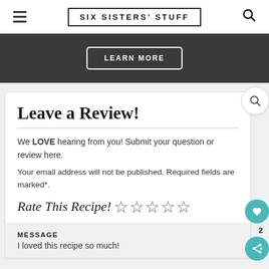SIX SISTERS' STUFF
[Figure (other): Dark banner with LEARN MORE button]
Leave a Review!
We LOVE hearing from you! Submit your question or review here.
Your email address will not be published. Required fields are marked*.
Rate This Recipe! ☆☆☆☆☆
MESSAGE
I loved this recipe so much!